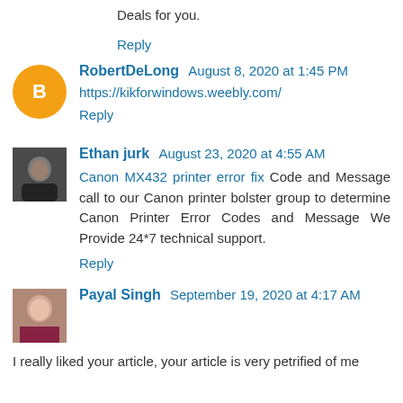Deals for you.
Reply
RobertDeLong  August 8, 2020 at 1:45 PM
https://kikforwindows.weebly.com/
Reply
Ethan jurk  August 23, 2020 at 4:55 AM
Canon MX432 printer error fix Code and Message call to our Canon printer bolster group to determine Canon Printer Error Codes and Message We Provide 24*7 technical support.
Reply
Payal Singh  September 19, 2020 at 4:17 AM
I really liked your article, your article is very petrified of me